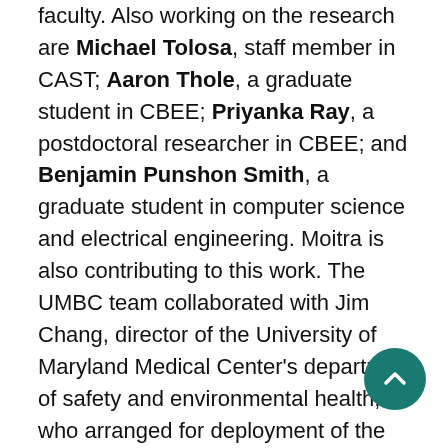faculty. Also working on the research are Michael Tolosa, staff member in CAST; Aaron Thole, a graduate student in CBEE; Priyanka Ray, a postdoctoral researcher in CBEE; and Benjamin Punshon Smith, a graduate student in computer science and electrical engineering. Moitra is also contributing to this work. The UMBC team collaborated with Jim Chang, director of the University of Maryland Medical Center's department of safety and environmental health, who arranged for deployment of the dehumidifiers at various locations in the hospital.

The research team also is developing a rapid, sensitive test for detecting pathogen signatures in minutes, to pair with the dehumidifier.
[Figure (other): Teal circular scroll-to-top button with upward chevron arrow]